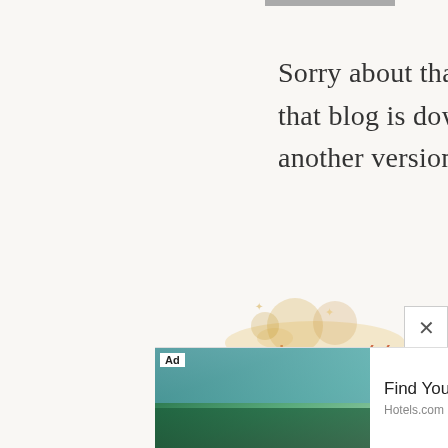[Figure (photo): Small avatar/profile image partially visible at top]
Sorry about that Ari, it looks like that blog is down or gone. Here’s another version though!
http://www.scatteredthoughtsofacrafty... crochet-heart-pattern.html
jenna says
[Figure (photo): Decorative avatar blob image partially visible at bottom left]
[Figure (screenshot): Ad banner: Hotels.com Find Your Match advertisement with pool/resort photo, Book Now CTA]